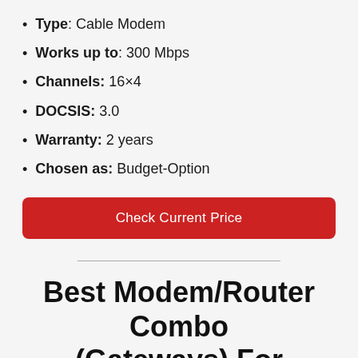Type: Cable Modem
Works up to: 300 Mbps
Channels: 16×4
DOCSIS: 3.0
Warranty: 2 years
Chosen as: Budget-Option
Check Current Price
Best Modem/Router Combo (Gateways) For Sparklight